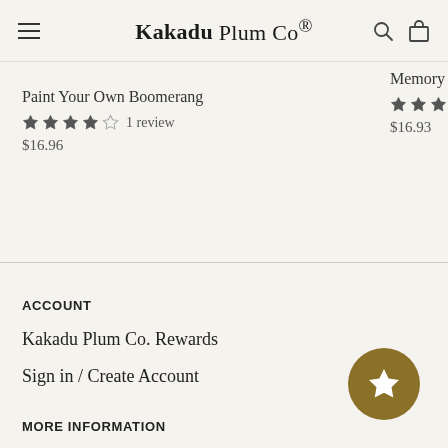Kakadu Plum Co®
Paint Your Own Boomerang
★★★★☆ 1 review
$16.96
Memory Card
★★★★★
$16.93
ACCOUNT
Kakadu Plum Co. Rewards
Sign in / Create Account
MORE INFORMATION
Contact
Resources and Education